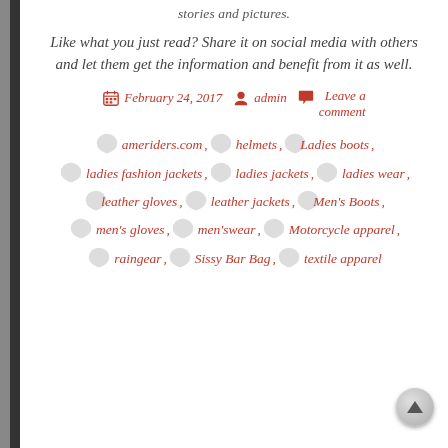stories and pictures.
Like what you just read? Share it on social media with others and let them get the information and benefit from it as well.
February 24, 2017   admin   Leave a comment
ameriders.com, helmets, Ladies boots, ladies fashion jackets, ladies jackets, ladies wear, leather gloves, leather jackets, Men's Boots, men's gloves, men's wear, Motorcycle apparel, rain gear, Sissy Bar Bag, textile apparel